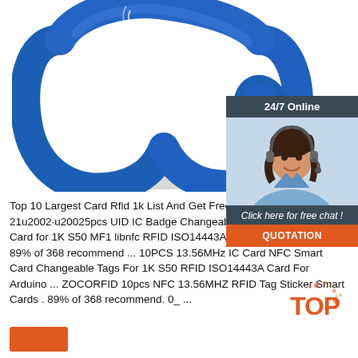[Figure (photo): Blue RFID silicone wristband with RFID branding, viewed from front at angle]
[Figure (infographic): 24/7 Online chat widget with customer service agent photo, 'Click here for free chat!' text, and orange QUOTATION button]
Top 10 Largest Card Rfid 1k List And Get Free Ship... 2021-10-21u2002·u20025pcs UID IC Badge Changeable Keyfobs Key Tags Card for 1K S50 MF1 libnfc RFID ISO14443A Block 0 Sector Writable . 89% of 368 recommend ... 10PCS 13.56MHz IC Card NFC Smart Card Changeable Tags For 1K S50 RFID ISO14443A Card For Arduino ... ZOCORFID 10pcs NFC 13.56MHZ RFID Tag Sticker Smart Cards . 89% of 368 recommend. 0_ ...
[Figure (logo): TOP logo in orange and red with decorative dots]
[Figure (other): Orange button at bottom left (partially visible)]